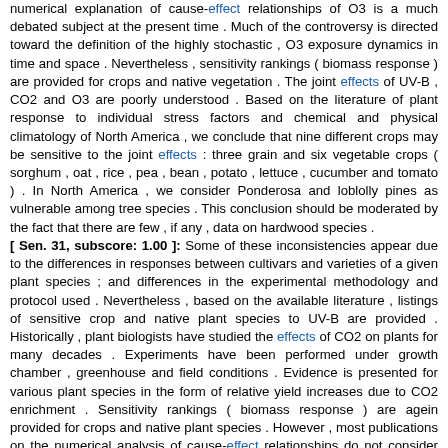numerical explanation of cause-effect relationships of O3 is a much debated subject at the present time . Much of the controversy is directed toward the definition of the highly stochastic , O3 exposure dynamics in time and space . Nevertheless , sensitivity rankings ( biomass response ) are provided for crops and native vegetation . The joint effects of UV-B , CO2 and O3 are poorly understood . Based on the literature of plant response to individual stress factors and chemical and physical climatology of North America , we conclude that nine different crops may be sensitive to the joint effects : three grain and six vegetable crops ( sorghum , oat , rice , pea , bean , potato , lettuce , cucumber and tomato ) . In North America , we consider Ponderosa and loblolly pines as vulnerable among tree species . This conclusion should be moderated by the fact that there are few , if any , data on hardwood species . [ Sen. 31, subscore: 1.00 ]: Some of these inconsistencies appear due to the differences in responses between cultivars and varieties of a given plant species ; and differences in the experimental methodology and protocol used . Nevertheless , based on the available literature , listings of sensitive crop and native plant species to UV-B are provided . Historically , plant biologists have studied the effects of CO2 on plants for many decades . Experiments have been performed under growth chamber , greenhouse and field conditions . Evidence is presented for various plant species in the form of relative yield increases due to CO2 enrichment . Sensitivity rankings ( biomass response ) are agein provided for crops and native plant species . However , most publications on the numerical analysis of cause-effect relationships do not consider sensitivity analysis of the mode used . Ozone is considered to be the most phytotoxic regional scale air pollutant . In the pre-occupation of loss in the O3 column , any increases in tropospheric O3 concentrations may be undermined relative to vegetation effects . As with the other stress factors , the effects of O3 have been studied both under controlled and field conditions . This the has been studied